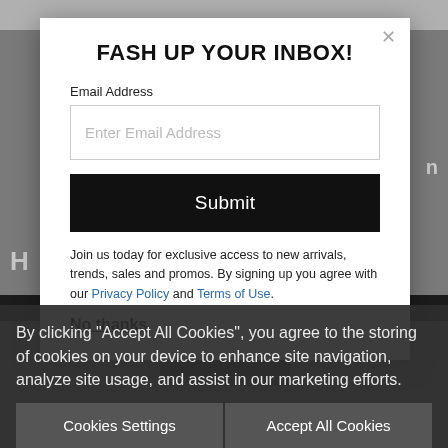[Figure (screenshot): Website background with grey overlay showing a partial letter H in white and a black navigation bar, with a product image partially visible at the bottom]
FASH UP YOUR INBOX!
Email Address
Enter Email Address
Submit
Join us today for exclusive access to new arrivals, trends, sales and promos. By signing up you agree with our Privacy Policy and Terms of Use.
No thanks
By clicking "Accept All Cookies", you agree to the storing of cookies on your device to enhance site navigation, analyze site usage, and assist in our marketing efforts.
Cookies Settings
Accept All Cookies